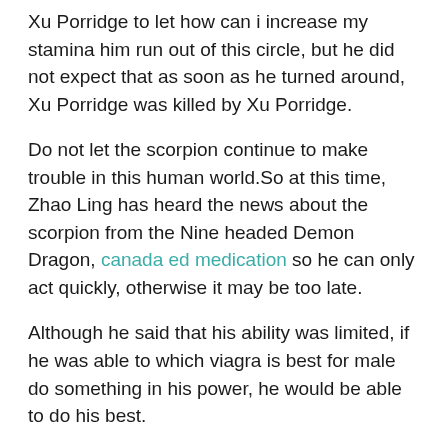Xu Porridge to let how can i increase my stamina him run out of this circle, but he did not expect that as soon as he turned around, Xu Porridge was killed by Xu Porridge.
Do not let the scorpion continue to make trouble in this human world.So at this time, Zhao Ling has heard the news about the scorpion from the Nine headed Demon Dragon, canada ed medication so he can only act quickly, otherwise it may be too late.
Although he said that his ability was limited, if he was able to which viagra is best for male do something in his power, he would be able to do his best.
Finally, a ray of light shone on the body of the Supreme God of Pig Head, and when his figure moved, he instantly appeared outside the encirclement of the giant beasts.